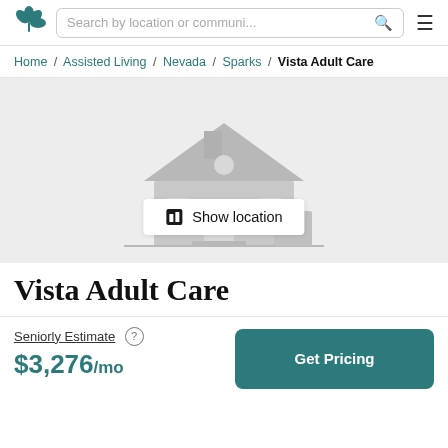Search by location or communi...
Home / Assisted Living / Nevada / Sparks / Vista Adult Care
[Figure (illustration): Gray placeholder house illustration with 'Show location' button overlay]
Vista Adult Care
Seniorly Estimate  $3,276/mo
Get Pricing